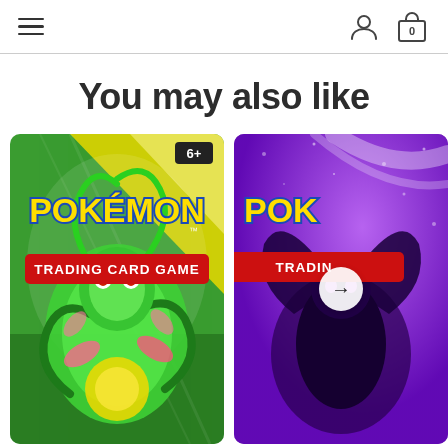Navigation header with hamburger menu, user account icon, and shopping bag icon with count 0
You may also like
[Figure (photo): Pokémon Trading Card Game booster pack featuring a green dragon-type Pokémon on a green and yellow background, with '6+' age rating label in top right corner]
[Figure (photo): Pokémon Trading Card Game booster pack with purple background partially visible, featuring a dark Pokémon, cut off on the right edge. A circular arrow navigation button is overlaid on this card.]